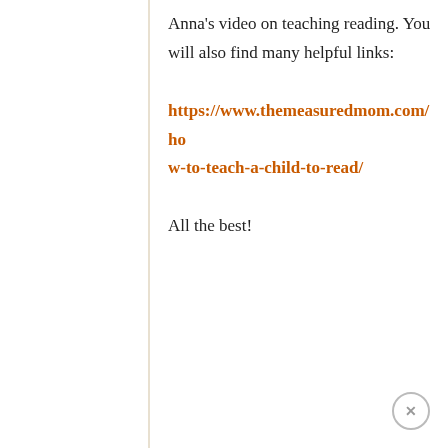Anna's video on teaching reading. You will also find many helpful links:
https://www.themeasuredmom.com/how-to-teach-a-child-to-read/
All the best!
↩ REPLY TO THIS COMMENT
MELY EU
July 30, 2019 at 12:48 am
Thanks for wonderful knowledge. I need more